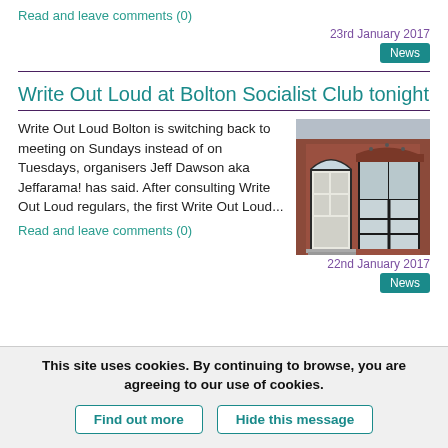Read and leave comments (0)
23rd January 2017
News
Write Out Loud at Bolton Socialist Club tonight
Write Out Loud Bolton is switching back to meeting on Sundays instead of on Tuesdays, organisers Jeff Dawson aka Jeffarama! has said. After consulting Write Out Loud regulars, the first Write Out Loud...
[Figure (photo): Exterior of Bolton Socialist Club building with brick facade, ornate doorway with fanlight, and large bay window]
Read and leave comments (0)
22nd January 2017
News
This site uses cookies. By continuing to browse, you are agreeing to our use of cookies.
Find out more
Hide this message